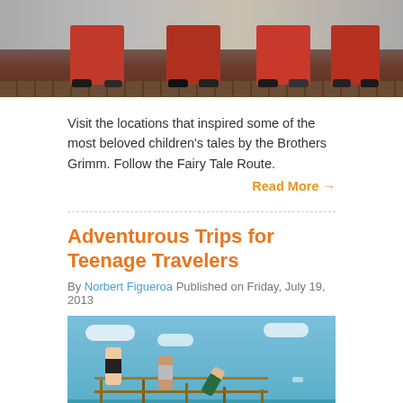[Figure (photo): Bottom half of people wearing red pants and black shoes standing on a wooden floor against a stone/concrete wall]
Visit the locations that inspired some of the most beloved children's tales by the Brothers Grimm. Follow the Fairy Tale Route.
Read More →
Adventurous Trips for Teenage Travelers
By Norbert Figueroa Published on Friday, July 19, 2013
[Figure (photo): Teenagers jumping off a wooden pier/dock over turquoise ocean water under a blue sky with clouds]